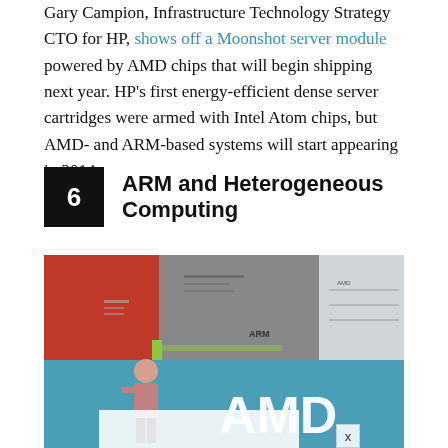Gary Campion, Infrastructure Technology Strategy CTO for HP, shows off a Moonshot server module powered by AMD chips that will begin shipping next year. HP's first energy-efficient dense server cartridges were armed with Intel Atom chips, but AMD- and ARM-based systems will start appearing in 2014.
6  ARM and Heterogeneous Computing
[Figure (photo): A man presenting on stage in front of a large screen displaying an AMD slide with ARM branding and roadmap graphics. Large AMD logo visible in the foreground.]